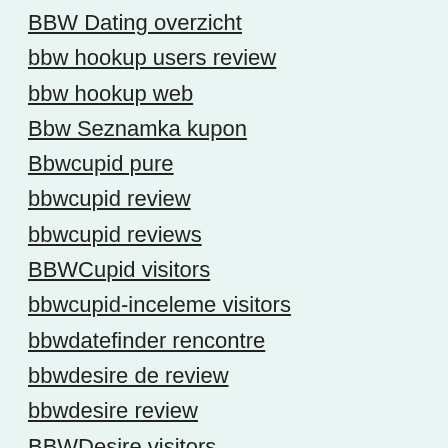BBW Dating overzicht
bbw hookup users review
bbw hookup web
Bbw Seznamka kupon
Bbwcupid pure
bbwcupid review
bbwcupid reviews
BBWCupid visitors
bbwcupid-inceleme visitors
bbwdatefinder rencontre
bbwdesire de review
bbwdesire review
BBWDesire visitors